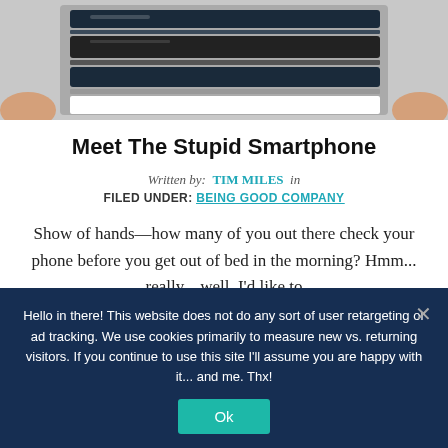[Figure (photo): Photo of a stack of smartphones being held, viewed from above on a wooden surface with hands visible on the sides.]
Meet The Stupid Smartphone
Written by: TIM MILES in
FILED UNDER: BEING GOOD COMPANY
Show of hands—how many of you out there check your phone before you get out of bed in the morning? Hmm... really... well, I'd like to
Hello in there! This website does not do any sort of user retargeting or ad tracking. We use cookies primarily to measure new vs. returning visitors. If you continue to use this site I'll assume you are happy with it... and me. Thx!